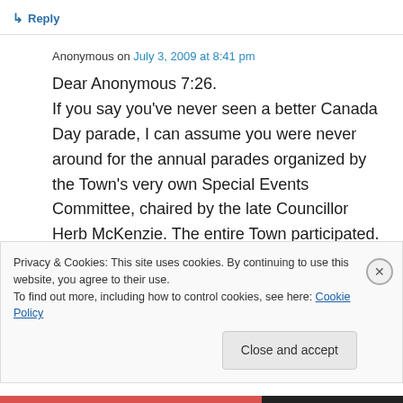↳ Reply
Anonymous on July 3, 2009 at 8:41 pm
Dear Anonymous 7:26.
If you say you've never seen a better Canada Day parade, I can assume you were never around for the annual parades organized by the Town's very own Special Events Committee, chaired by the late Councillor Herb McKenzie. The entire Town participated. Streets put in floats
Privacy & Cookies: This site uses cookies. By continuing to use this website, you agree to their use.
To find out more, including how to control cookies, see here: Cookie Policy
Close and accept